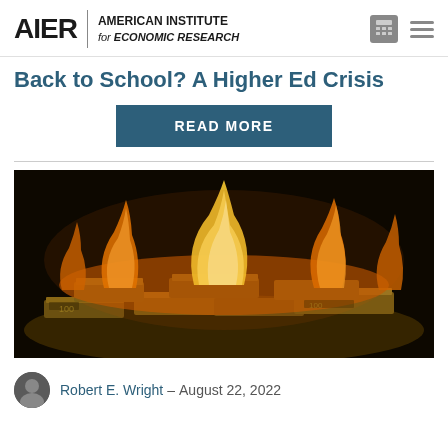AIER | AMERICAN INSTITUTE for ECONOMIC RESEARCH
Back to School? A Higher Ed Crisis
READ MORE
[Figure (photo): Stacks of money (US dollar bills) on fire with large yellow-orange flames against a dark background]
Robert E. Wright – August 22, 2022